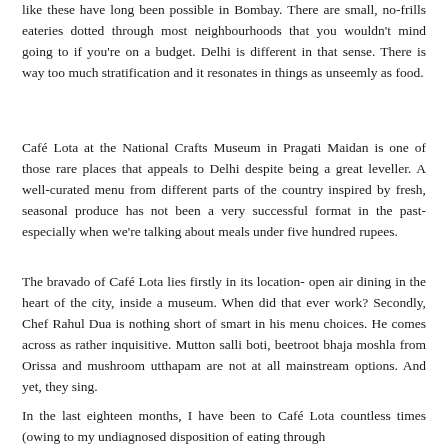like these have long been possible in Bombay. There are small, no-frills eateries dotted through most neighbourhoods that you wouldn't mind going to if you're on a budget. Delhi is different in that sense. There is way too much stratification and it resonates in things as unseemly as food.
Café Lota at the National Crafts Museum in Pragati Maidan is one of those rare places that appeals to Delhi despite being a great leveller. A well-curated menu from different parts of the country inspired by fresh, seasonal produce has not been a very successful format in the past- especially when we're talking about meals under five hundred rupees.
The bravado of Café Lota lies firstly in its location- open air dining in the heart of the city, inside a museum. When did that ever work? Secondly, Chef Rahul Dua is nothing short of smart in his menu choices. He comes across as rather inquisitive. Mutton salli boti, beetroot bhaja moshla from Orissa and mushroom utthapam are not at all mainstream options. And yet, they sing.
In the last eighteen months, I have been to Café Lota countless times (owing to my undiagnosed disposition of eating through